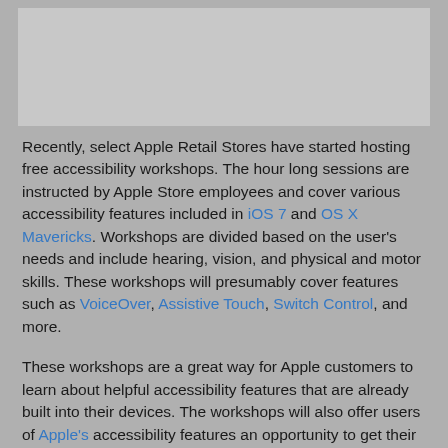[Figure (photo): Gray placeholder image at top of page]
Recently, select Apple Retail Stores have started hosting free accessibility workshops. The hour long sessions are instructed by Apple Store employees and cover various accessibility features included in iOS 7 and OS X Mavericks. Workshops are divided based on the user's needs and include hearing, vision, and physical and motor skills. These workshops will presumably cover features such as VoiceOver, Assistive Touch, Switch Control, and more.
These workshops are a great way for Apple customers to learn about helpful accessibility features that are already built into their devices. The workshops will also offer users of Apple's accessibility features an opportunity to get their questions answered in person. The training of the workshop instructors will be key to a successful experience. Hopefully, these workshops will be offered in all Apple Stores in the near future. While accessibility specific workshops may not help Apple's bottom line, they demonstrate Apple continued